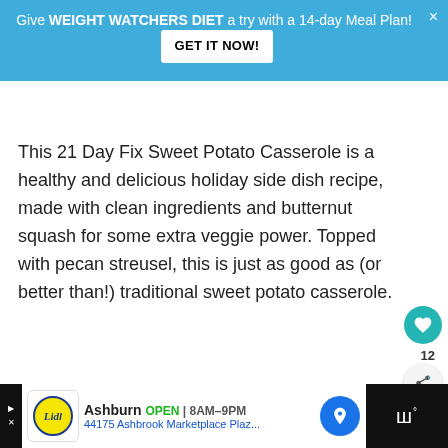Give WEIGHT WATCHERS DIET a try with a 14-day Meal Plan! GET IT NOW!
This 21 Day Fix Sweet Potato Casserole is a healthy and delicious holiday side dish recipe, made with clean ingredients and butternut squash for some extra veggie power. Topped with pecan streusel, this is just as good as (or better than!) traditional sweet potato casserole.
[Figure (photo): Food photo – white background with light casserole dish, partially visible]
[Figure (infographic): What's Next card showing Clean Eating Snacks - Be...]
Ashburn OPEN 8AM–9PM 44175 Ashbrook Marketplace Plaz...